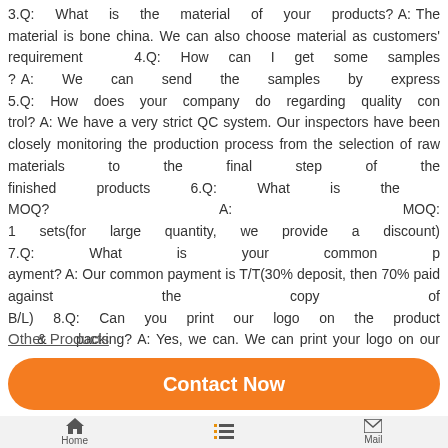3.Q: What is the material of your products? A: The material is bone china. We can also choose material as customers' requirement 4.Q: How can I get some samples? A: We can send the samples by express 5.Q: How does your company do regarding quality control? A: We have a very strict QC system. Our inspectors have been closely monitoring the production process from the selection of raw materials to the final step of the finished products 6.Q: What is the MOQ? A: MOQ: 1 sets(for large quantity, we provide a discount) 7.Q: What is your common payment? A: Our common payment is T/T(30% deposit, then 70% paid against the copy of B/L) 8.Q: Can you print our logo on the product & packing? A: Yes, we can. We can print your logo on our products. Or other artworks from you. Contact me
Other Products
Contact Now
Home   Menu   Mail